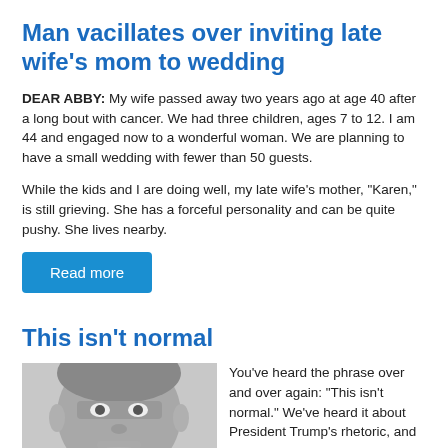Man vacillates over inviting late wife’s mom to wedding
DEAR ABBY: My wife passed away two years ago at age 40 after a long bout with cancer. We had three children, ages 7 to 12. I am 44 and engaged now to a wonderful woman. We are planning to have a small wedding with fewer than 50 guests.

While the kids and I are doing well, my late wife’s mother, “Karen,” is still grieving. She has a forceful personality and can be quite pushy. She lives nearby.
Read more
This isn’t normal
[Figure (photo): Grayscale close-up photo of a man’s face]
You’ve heard the phrase over and over again: “This isn’t normal.” We’ve heard it about President Trump’s rhetoric, and